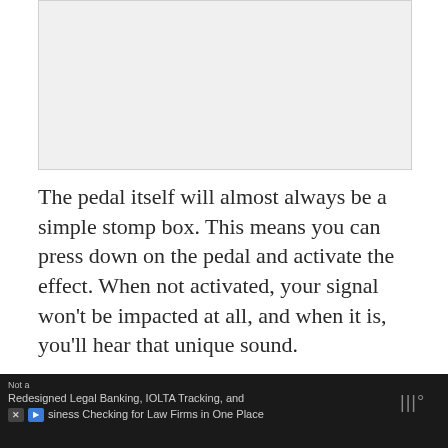[Figure (photo): Image placeholder area at the top of the page]
The pedal itself will almost always be a simple stomp box. This means you can press down on the pedal and activate the effect. When not activated, your signal won’t be impacted at all, and when it is, you’ll hear that unique sound.
In terms of use, the flanger is a rather hit-
Not a
Redesigned Legal Banking, IOLTA Tracking, and Business Checking for Law Firms in One Place